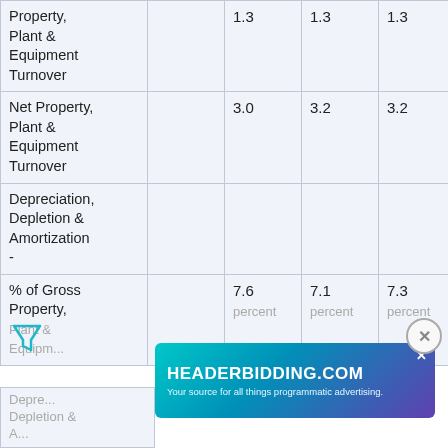|  |  |  |  |  |  |
| --- | --- | --- | --- | --- | --- |
| Property, Plant & Equipment Turnover |  | 1.3 | 1.3 | 1.3 | 1.2 | 1.1 |
| Net Property, Plant & Equipment Turnover |  | 3.0 | 3.2 | 3.2 | 2.9 | 2.8 |
| Depreciation, Depletion & Amortization - |  |  |  |  |  |  |
| % of Gross Property, Plant & Equipment Depreciation Depletion & |  | 7.6 percent | 7.1 percent | 7.3 percent | 6.3 percent | per... |